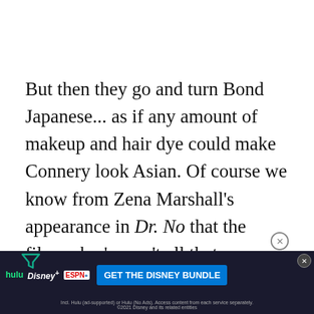But then they go and turn Bond Japanese... as if any amount of makeup and hair dye could make Connery look Asian. Of course we know from Zena Marshall's appearance in Dr. No that the filmmaker's aren't all that interested in looking convincing when it comes to fake Asians. Thankfully, his yellow-face facade is short-lived (and conspicuously unnecessary to boot), and the film g... ttle in the vi...
[Figure (other): Advertisement banner for the Disney Bundle (Hulu, Disney+, ESPN+) with a blue 'GET THE DISNEY BUNDLE' call-to-action button and fine print about Hulu ad-supported plans.]